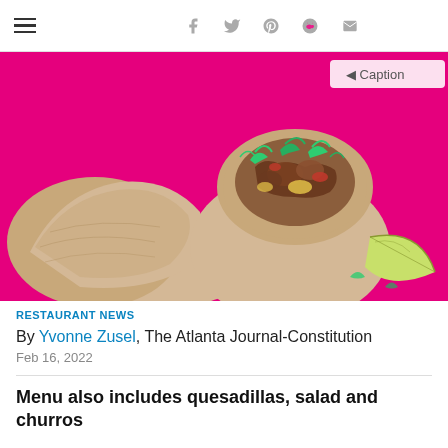≡   f  Twitter  Pinterest  Reddit  Mail
[Figure (photo): Two burritos cut in half showing filling of meat, vegetables, and herbs on a bright pink background with a lime wedge, with a Caption button overlay in top right]
RESTAURANT NEWS
By Yvonne Zusel, The Atlanta Journal-Constitution
Feb 16, 2022
Menu also includes quesadillas, salad and churros